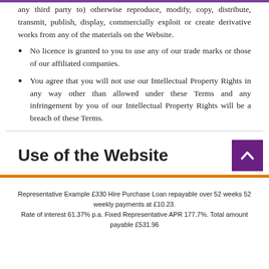any third party to) otherwise reproduce, modify, copy, distribute, transmit, publish, display, commercially exploit or create derivative works from any of the materials on the Website.
No licence is granted to you to use any of our trade marks or those of our affiliated companies.
You agree that you will not use our Intellectual Property Rights in any way other than allowed under these Terms and any infringement by you of our Intellectual Property Rights will be a breach of these Terms.
Use of the Website
Representative Example £330 Hire Purchase Loan repayable over 52 weeks 52 weekly payments at £10.23. Rate of interest 61.37% p.a. Fixed Representative APR 177.7%. Total amount payable £531.96